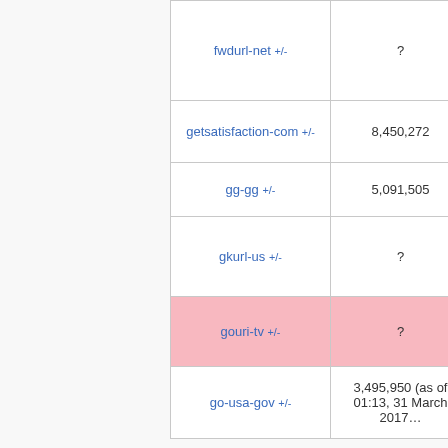| Name | Count | Date |
| --- | --- | --- |
| fwdurl-net +/- | ? | 2016-0… 06 |
| getsatisfaction-com +/- | 8,450,272 | 2017-1… 11 |
| gg-gg +/- | 5,091,505 | 2017-0… 13 |
| gkurl-us +/- | ? | 2016-1… 30 |
| gouri-tv +/- | ? | 2018-1… 29 |
| go-usa-gov +/- | 3,495,950 (as of 01:13, 31 March 2017… | ? |